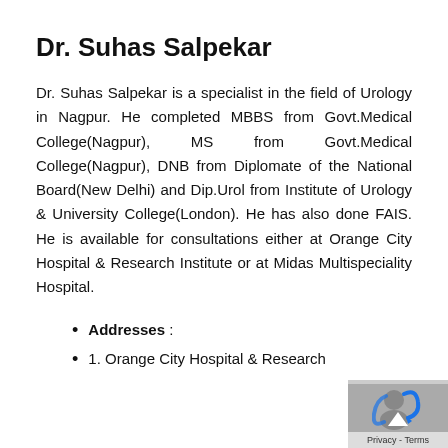Dr. Suhas Salpekar
Dr. Suhas Salpekar is a specialist in the field of Urology in Nagpur. He completed MBBS from Govt.Medical College(Nagpur), MS from Govt.Medical College(Nagpur), DNB from Diplomate of the National Board(New Delhi) and Dip.Urol from Institute of Urology & University College(London). He has also done FAIS. He is available for consultations either at Orange City Hospital & Research Institute or at Midas Multispeciality Hospital.
Addresses :
1. Orange City Hospital & Research Institute, 10 Nagar Samraat S...